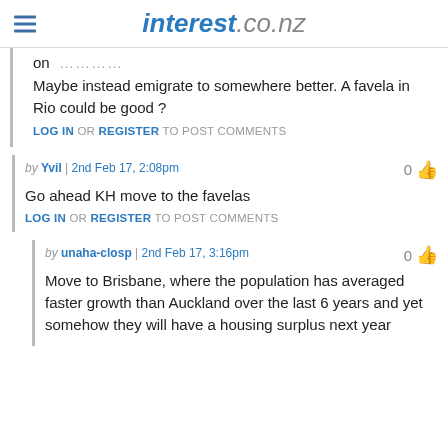interest.co.nz
on …………
Maybe instead emigrate to somewhere better. A favela in Rio could be good ?
LOG IN OR REGISTER TO POST COMMENTS
by Yvil | 2nd Feb 17, 2:08pm   0
Go ahead KH move to the favelas
LOG IN OR REGISTER TO POST COMMENTS
by unaha-closp | 2nd Feb 17, 3:16pm   0
Move to Brisbane, where the population has averaged faster growth than Auckland over the last 6 years and yet somehow they will have a housing surplus next year